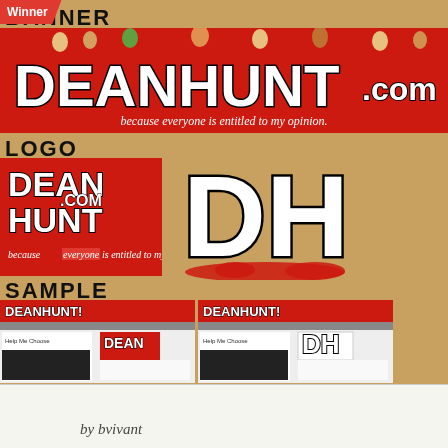[Figure (screenshot): Winner badge contest entry showing Dean Hunt website branding assets: banner, logo variations, and website screenshot samples. Red banner with DEANHUNT.COM text and tagline 'because everyone is entitled to my opinion'. Logo variations including red square logo and DH monogram. Two website screenshot samples side by side.]
by bvivant